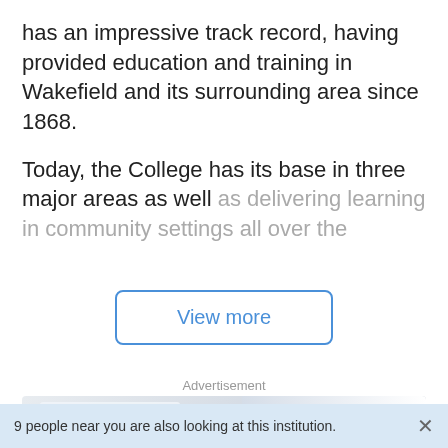has an impressive track record, having provided education and training in Wakefield and its surrounding area since 1868.
Today, the College has its base in three major areas as well as delivering learning in community settings all over the
View more
Advertisement
[Figure (photo): MMU Multimedia University advertisement showing students and a robot mascot with text 'MMU is You Leading the Digital Future']
9 people near you are also looking at this institution.